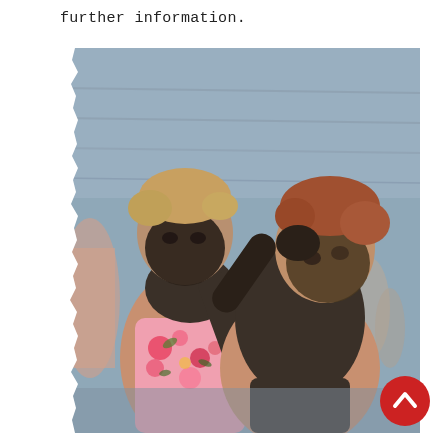further information.
[Figure (photo): Two women with dark mud applied to their faces and bodies, standing in water near a shoreline. One woman in a floral swimsuit applies mud to the other woman's face. Sea and other people visible in the background.]
[Figure (other): Red circular scroll-to-top button with an upward chevron arrow icon, positioned at the bottom right of the image.]